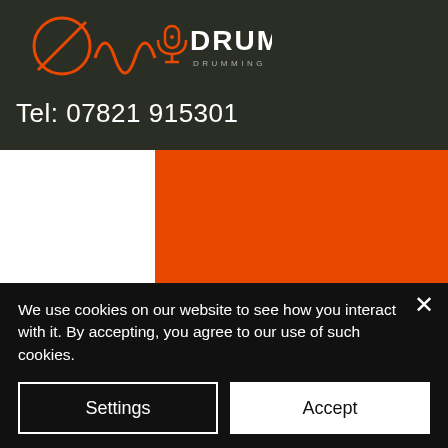[Figure (logo): Drum Base logo with stylized drum waveform graphic and microphone icon, orange on dark background, with text DRUM BASE and tagline DRUMMING · RECORDING · PRODUCING]
Tel: 07821 915301
[Figure (screenshot): Orange block background with white side strips and cream top-right corner, forming the hero/body area of the website]
We use cookies on our website to see how you interact with it. By accepting, you agree to our use of such cookies.
Settings
Accept